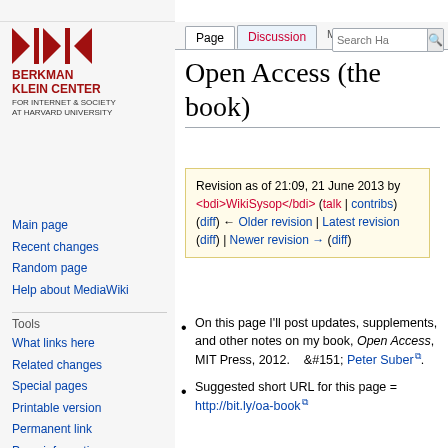Create account  Log in
[Figure (logo): Berkman Klein Center for Internet & Society at Harvard University logo with red arrows and vertical bar]
Main page
Recent changes
Random page
Help about MediaWiki
Tools
What links here
Related changes
Special pages
Printable version
Permanent link
Page information
Open Access (the book)
Revision as of 21:09, 21 June 2013 by <bdi>WikiSysop</bdi> (talk | contribs)
(diff) ← Older revision | Latest revision (diff) | Newer revision → (diff)
On this page I'll post updates, supplements, and other notes on my book, Open Access, MIT Press, 2012.   &#151; Peter Suber.
Suggested short URL for this page = http://bit.ly/oa-book